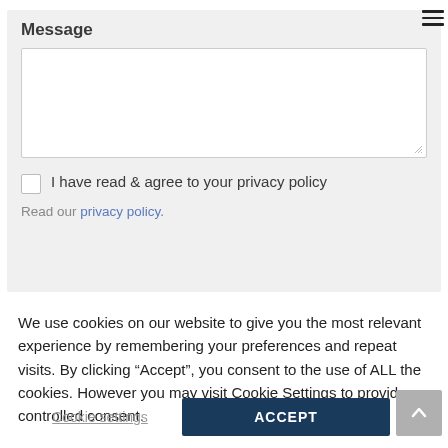[Figure (screenshot): Hamburger menu icon (three horizontal lines) in the top-right corner]
Message
[Figure (screenshot): Empty textarea input box for message entry with resize handle]
I have read & agree to your privacy policy
Read our privacy policy.
We use cookies on our website to give you the most relevant experience by remembering your preferences and repeat visits. By clicking “Accept”, you consent to the use of ALL the cookies. However you may visit Cookie Settings to provide a controlled consent.
Cookie settings
ACCEPT